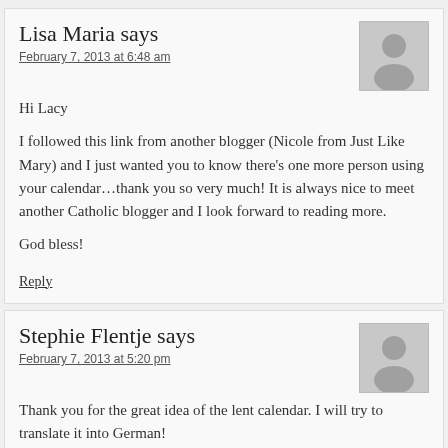Lisa Maria says
February 7, 2013 at 6:48 am
Hi Lacy

I followed this link from another blogger (Nicole from Just Like Mary) and I just wanted you to know there’s one more person using your calendar…thank you so very much! It is always nice to meet another Catholic blogger and I look forward to reading more.

God bless!
Reply
Stephie Flentje says
February 7, 2013 at 5:20 pm
Thank you for the great idea of the lent calendar. I will try to translate it into German!

Stephie Flentje